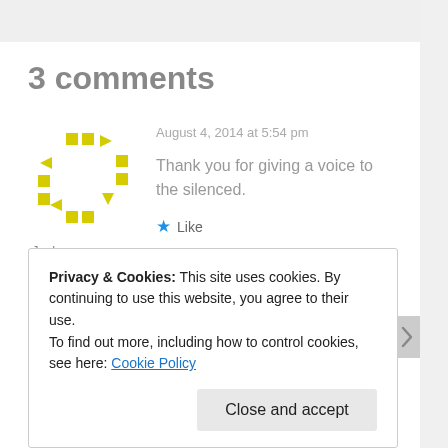3 comments
August 4, 2014 at 5:54 pm
[Figure (illustration): Gravatar avatar placeholder — yellow dashed circle made of squares and triangles on white background]
Jack
Thank you for giving a voice to the silenced.
★ Like
Privacy & Cookies: This site uses cookies. By continuing to use this website, you agree to their use.
To find out more, including how to control cookies, see here: Cookie Policy
Close and accept